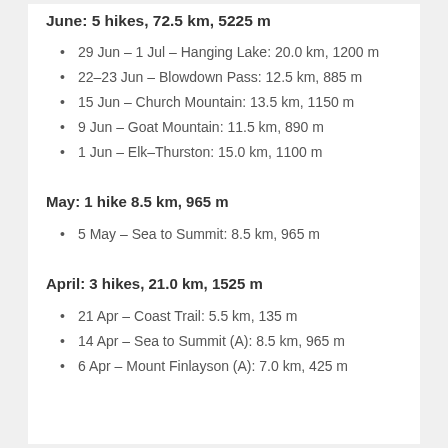June: 5 hikes, 72.5 km, 5225 m
29 Jun – 1 Jul – Hanging Lake: 20.0 km, 1200 m
22–23 Jun – Blowdown Pass: 12.5 km, 885 m
15 Jun – Church Mountain: 13.5 km, 1150 m
9 Jun – Goat Mountain: 11.5 km, 890 m
1 Jun – Elk–Thurston: 15.0 km, 1100 m
May: 1 hike 8.5 km, 965 m
5 May – Sea to Summit: 8.5 km, 965 m
April: 3 hikes, 21.0 km, 1525 m
21 Apr – Coast Trail: 5.5 km, 135 m
14 Apr – Sea to Summit (A): 8.5 km, 965 m
6 Apr – Mount Finlayson (A): 7.0 km, 425 m